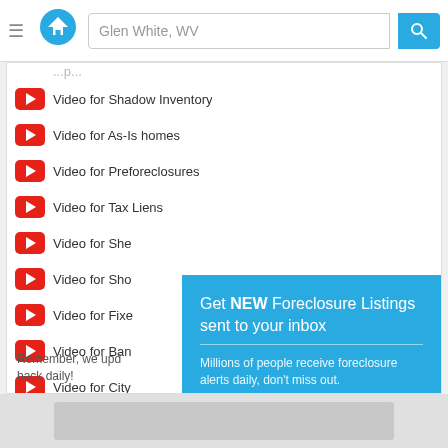[Figure (screenshot): Website navigation bar with hamburger menu, home logo, search field showing 'Glen White, WV', and blue search button]
Video for Shadow Inventory
Video for As-Is homes
Video for Preforeclosures
Video for Tax Liens
Video for She[riff Sales] (partially obscured)
Video for Sho[rt Sales] (partially obscured)
Video for Fixe[r Uppers] (partially obscured)
Video for Ban[k Owned] (partially obscured)
Video for City[...] (partially obscured)
Video for Rem[...] (partially obscured)
Remember, we upd[ate listings and come] back daily!
[Figure (infographic): Teal popup overlay: 'Get NEW Foreclosure Listings sent to your inbox' with subtext 'Millions of people receive foreclosure alerts daily, don't miss out.' An envelope icon, a red 'Signup Here' button, and links 'No Thanks | Remind Me Later']